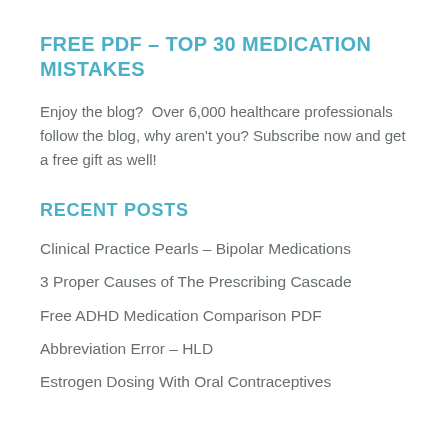FREE PDF – TOP 30 MEDICATION MISTAKES
Enjoy the blog?  Over 6,000 healthcare professionals follow the blog, why aren't you? Subscribe now and get a free gift as well!
RECENT POSTS
Clinical Practice Pearls – Bipolar Medications
3 Proper Causes of The Prescribing Cascade
Free ADHD Medication Comparison PDF
Abbreviation Error – HLD
Estrogen Dosing With Oral Contraceptives